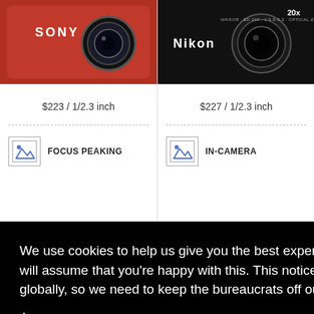[Figure (photo): Red Sony compact camera photo at top left]
[Figure (photo): Black Nikon compact camera photo at top right with 20x optical zoom label]
$223 / 1/2.3 inch
$227 / 1/2.3 inch
[Figure (illustration): Mountain/landscape icon with FOCUS PEAKING label]
[Figure (illustration): Mountain/landscape icon with IN-CAMERA label]
We use cookies to help us give you the best experience on IR. If you continue to use this site, we will assume that you're happy with this. This notice is required by recent EU rules, and IR is read globally, so we need to keep the bureaucrats off our case!
Learn more
Got it!